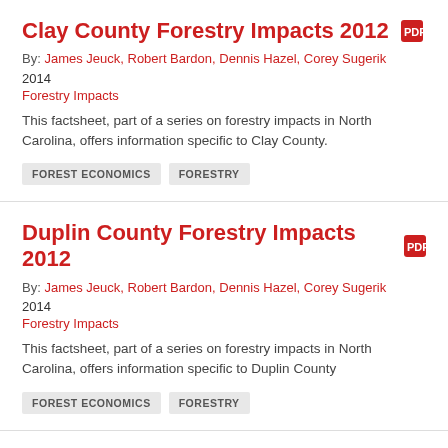Clay County Forestry Impacts 2012
By: James Jeuck, Robert Bardon, Dennis Hazel, Corey Sugerik
2014
Forestry Impacts
This factsheet, part of a series on forestry impacts in North Carolina, offers information specific to Clay County.
FOREST ECONOMICS
FORESTRY
Duplin County Forestry Impacts 2012
By: James Jeuck, Robert Bardon, Dennis Hazel, Corey Sugerik
2014
Forestry Impacts
This factsheet, part of a series on forestry impacts in North Carolina, offers information specific to Duplin County
FOREST ECONOMICS
FORESTRY